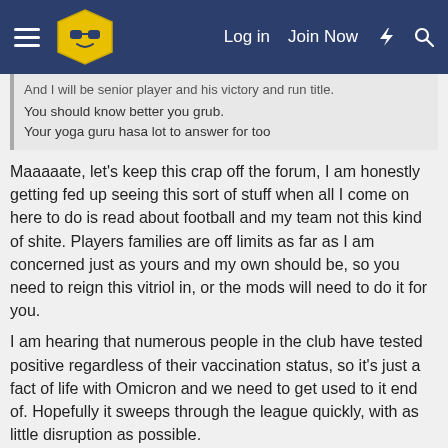Log in  Join Now  [icons]
And I will be senior player and his victory and run title. You should know better you grub. Your yoga guru hasa lot to answer for too
Maaaaate, let's keep this crap off the forum, I am honestly getting fed up seeing this sort of stuff when all I come on here to do is read about football and my team not this kind of shite. Players families are off limits as far as I am concerned just as yours and my own should be, so you need to reign this vitriol in, or the mods will need to do it for you.

I am hearing that numerous people in the club have tested positive regardless of their vaccination status, so it's just a fact of life with Omicron and we need to get used to it end of. Hopefully it sweeps through the league quickly, with as little disruption as possible.
Big Al, sydmariner, Manny_ccm and 4 others
turbo